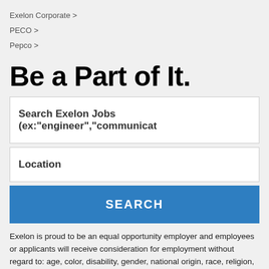Exelon Corporate >
PECO >
Pepco >
Be a Part of It.
Search Exelon Jobs (ex:"engineer","communicat
Location
SEARCH
Exelon is proud to be an equal opportunity employer and employees or applicants will receive consideration for employment without regard to: age, color, disability, gender, national origin, race, religion, sexual orientation, gender